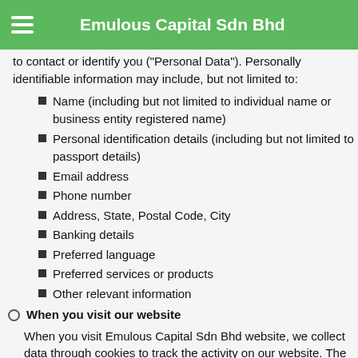Emulous Capital Sdn Bhd
to contact or identify you ("Personal Data"). Personally identifiable information may include, but not limited to:
Name (including but not limited to individual name or business entity registered name)
Personal identification details (including but not limited to passport details)
Email address
Phone number
Address, State, Postal Code, City
Banking details
Preferred language
Preferred services or products
Other relevant information
When you visit our website
When you visit Emulous Capital Sdn Bhd website, we collect data through cookies to track the activity on our website. The data we collect through cookies consists of data relating to your device, IP address and your usage of the websites. We use the data collected through cookies to